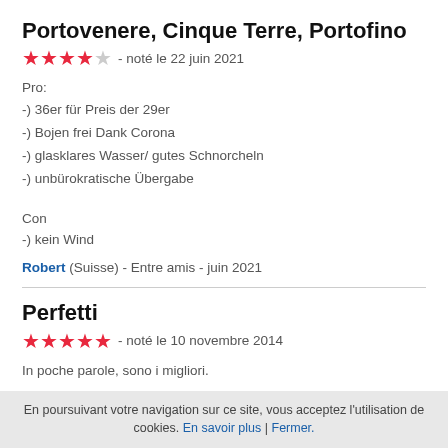Portovenere, Cinque Terre, Portofino
★★★★☆ - noté le 22 juin 2021
Pro:
-) 36er für Preis der 29er
-) Bojen frei Dank Corona
-) glasklares Wasser/ gutes Schnorcheln
-) unbürokratische Übergabe

Con
-) kein Wind
Robert (Suisse) - Entre amis - juin 2021
Perfetti
★★★★★ - noté le 10 novembre 2014
In poche parole, sono i migliori.
Marco (Italie) - Entre amis - octobre 2014
En poursuivant votre navigation sur ce site, vous acceptez l'utilisation de cookies. En savoir plus | Fermer.